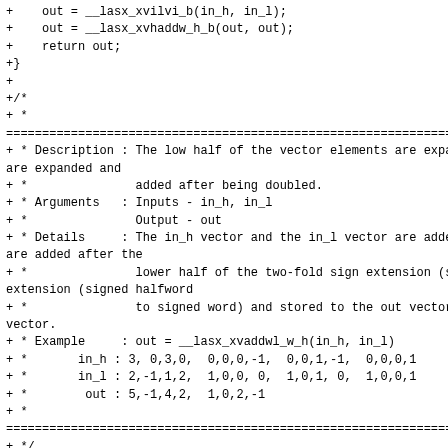+    out = __lasx_xvilvi_b(in_h, in_l);
+    out = __lasx_xvhaddw_h_b(out, out);
+    return out;
+}
+
+/*
+ *
=======================================================================
+ * Description : The low half of the vector elements are expanded and
+ *               added after being doubled.
+ * Arguments   : Inputs - in_h, in_l
+ *               Output - out
+ * Details     : The in_h vector and the in_l vector are added after the
+ *               lower half of the two-fold sign extension (signed halfword
+ *               to signed word) and stored to the out vector.
+ * Example     : out = __lasx_xvaddwl_w_h(in_h, in_l)
+ *       in_h : 3, 0,3,0,  0,0,0,-1,  0,0,1,-1,  0,0,0,1
+ *       in_l : 2,-1,1,2,  1,0,0, 0,  1,0,1, 0,  1,0,0,1
+ *        out : 5,-1,4,2,  1,0,2,-1
+ *
=======================================================================
+ */
+static inline __m256i __lasx_xvaddwl_w_h(__m256i in_h,
__m256i in_l)
+{
+    __m256i out;
+